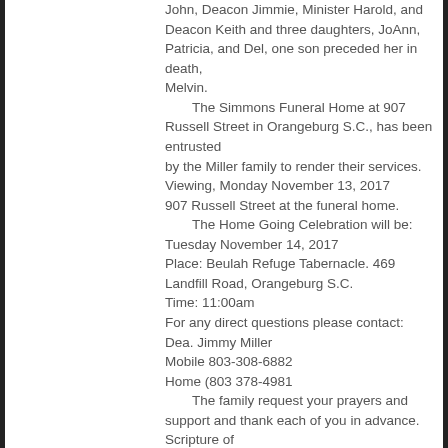John, Deacon Jimmie, Minister Harold, and Deacon Keith and three daughters, JoAnn, Patricia, and Del, one son preceded her in death, Melvin. The Simmons Funeral Home at 907 Russell Street in Orangeburg S.C., has been entrusted by the Miller family to render their services. Viewing, Monday November 13, 2017 907 Russell Street at the funeral home. The Home Going Celebration will be: Tuesday November 14, 2017 Place: Beulah Refuge Tabernacle. 469 Landfill Road, Orangeburg S.C. Time: 11:00am For any direct questions please contact: Dea. Jimmy Miller Mobile 803-308-6882 Home (803 378-4981 The family request your prayers and support and thank each of you in advance. Scripture of comfort, “There remaineth therefore a rest to the people of God.” Hebrews 4:9
Mother Doris White